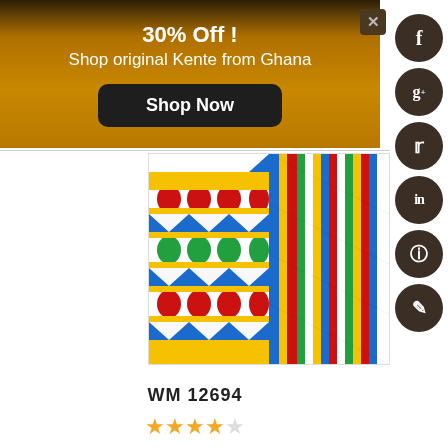30% Off !
Shop original Kente from Ghana
Shop Now
[Figure (photo): Colorful Kente cloth fabric from Ghana showing traditional woven patterns with blue, yellow, red, green, and white geometric designs]
WM 12694
★★★★☆